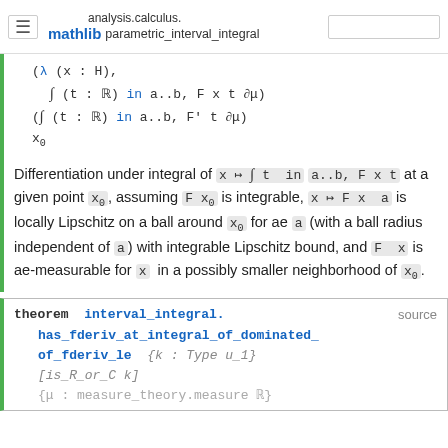analysis.calculus.parametric_interval_integral — mathlib
Differentiation under integral of x ↦ ∫ t in a..b, F x t at a given point x₀, assuming F x₀ is integrable, x ↦ F x a is locally Lipschitz on a ball around x₀ for ae a (with a ball radius independent of a) with integrable Lipschitz bound, and F x is ae-measurable for x in a possibly smaller neighborhood of x₀.
theorem interval_integral.has_fderiv_at_integral_of_dominated_of_fderiv_le {k : Type u_1} [is_R_or_C k] {μ : measure_theory.measure ℝ}
source